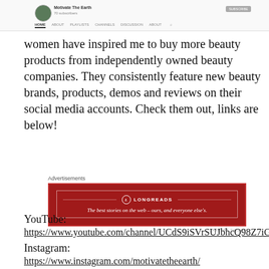[Figure (screenshot): Top navigation bar of a website with logo, site name, subscriber count, navigation links (HOME, ABOUT, PLAYLISTS, CHANNELS, DISCUSSION, ABOUT), search icon, and SUBSCRIBE button]
women have inspired me to buy more beauty products from independently owned beauty companies. They consistently feature new beauty brands, products, demos and reviews on their social media accounts. Check them out, links are below!
[Figure (screenshot): Advertisement banner for LONGREADS with red background. Text reads: The best stories on the web – ours, and everyone else's. REPORT THIS AD shown below.]
YouTube:
https://www.youtube.com/channel/UCdS9iSVrSUJbhcQ98Z7iGaw
Instagram:
https://www.instagram.com/motivatetheearth/